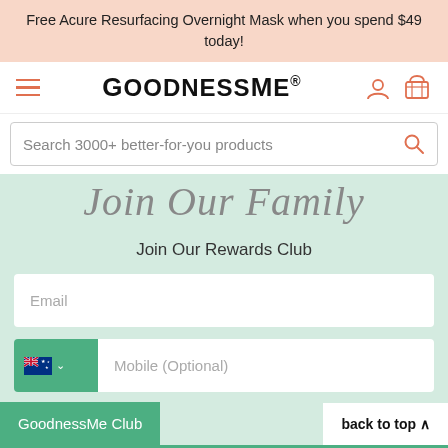Free Acure Resurfacing Overnight Mask when you spend $49 today!
[Figure (logo): GoodnessMe logo with hamburger menu, user icon, and cart icon]
Search 3000+ better-for-you products
Join Our Family
Join Our Rewards Club
Email
Mobile (Optional)
GoodnessMe Club
back to top
LET'S GO!